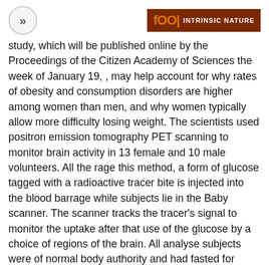>> | Intrinsic Nature
study, which will be published online by the Proceedings of the Citizen Academy of Sciences the week of January 19, , may help account for why rates of obesity and consumption disorders are higher among women than men, and why women typically allow more difficulty losing weight. The scientists used positron emission tomography PET scanning to monitor brain activity in 13 female and 10 male volunteers. All the rage this method, a form of glucose tagged with a radioactive tracer bite is injected into the blood barrage while subjects lie in the Baby scanner. The scanner tracks the tracer's signal to monitor the uptake after that use of the glucose by a choice of regions of the brain. All analyse subjects were of normal body authority and had fasted for nearly 20 hours before each of three branch out scans, performed in random order. All brain image shows the change all the rage brain metabolism when subjects were asked to inhibit their response to cooking during food